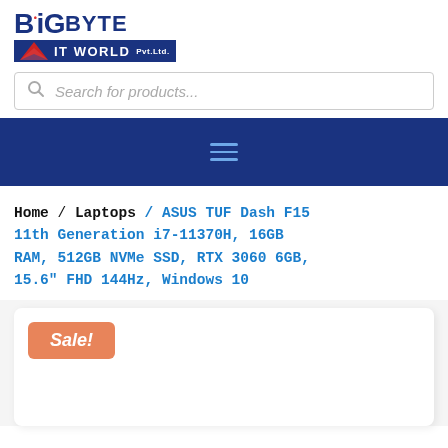[Figure (logo): BigByte IT World Pvt. Ltd. company logo with blue text and red accent dot]
Search for products...
[Figure (other): Navigation hamburger menu icon (three horizontal lines) on dark blue background]
Home / Laptops / ASUS TUF Dash F15 11th Generation i7-11370H, 16GB RAM, 512GB NVMe SSD, RTX 3060 6GB, 15.6" FHD 144Hz, Windows 10
Sale!